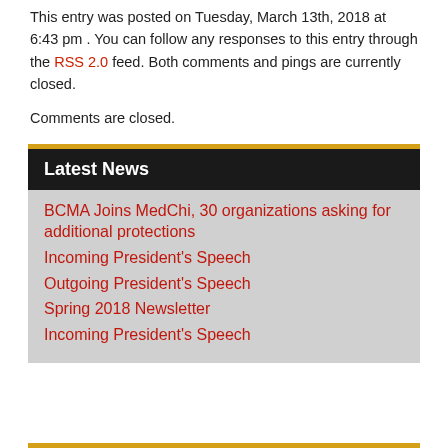This entry was posted on Tuesday, March 13th, 2018 at 6:43 pm . You can follow any responses to this entry through the RSS 2.0 feed. Both comments and pings are currently closed.
Comments are closed.
Latest News
BCMA Joins MedChi, 30 organizations asking for additional protections
Incoming President's Speech
Outgoing President's Speech
Spring 2018 Newsletter
Incoming President's Speech